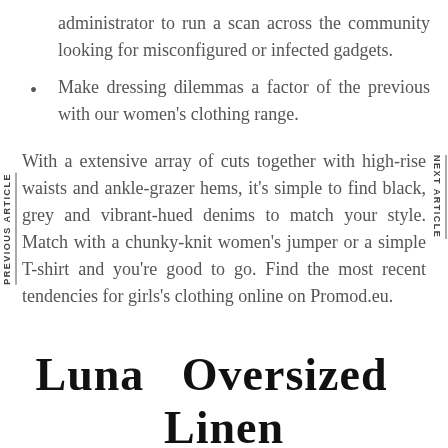administrator to run a scan across the community looking for misconfigured or infected gadgets.
Make dressing dilemmas a factor of the previous with our women's clothing range.
With a extensive array of cuts together with high-rise waists and ankle-grazer hems, it's simple to find black, grey and vibrant-hued denims to match your style. Match with a chunky-knit women's jumper or a simple T-shirt and you're good to go. Find the most recent tendencies for girls's clothing online on Promod.eu.
Luna Oversized Linen